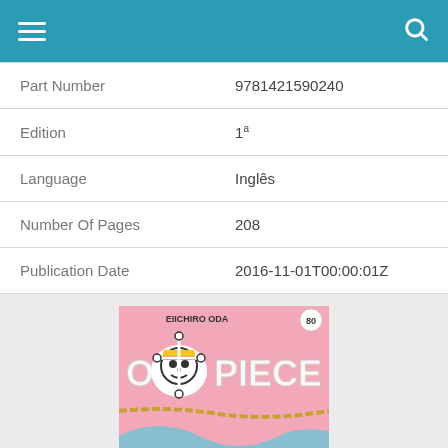Navigation header with menu and search icons
| Part Number | 9781421590240 |
| Edition | 1ª |
| Language | Inglês |
| Number Of Pages | 208 |
| Publication Date | 2016-11-01T00:00:01Z |
[Figure (photo): One Piece manga volume 80 book cover by Eiichiro Oda, featuring the Straw Hat Pirates skull logo and colorful manga artwork with characters]